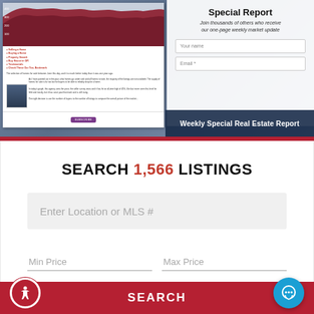[Figure (screenshot): Real estate newsletter preview on the left showing chart and text content, and a sign-up form on the right for a Weekly Special Report with fields for Your name and Email, over a blue-gray background]
Weekly Special Real Estate Report
SEARCH 1,566 LISTINGS
Enter Location or MLS #
Min Price
Max Price
SEARCH